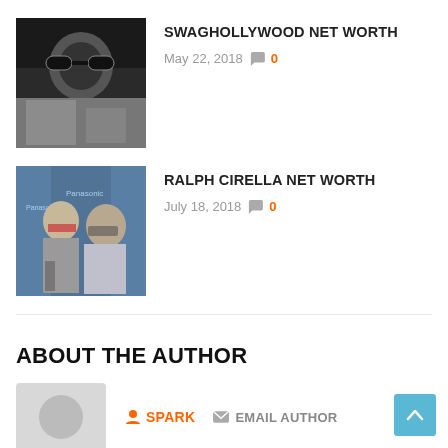[Figure (photo): Black and white photo of a person wearing round sunglasses, seated at a table]
SWAGHOLLYWOOD NET WORTH
May 22, 2018  💬 0
[Figure (photo): Color photo of two people standing in front of a Panasonic branded backdrop at an event]
RALPH CIRELLA NET WORTH
July 18, 2018  💬 0
ABOUT THE AUTHOR
[Figure (photo): Gray placeholder avatar image with circle icon]
SPARK  EMAIL AUTHOR